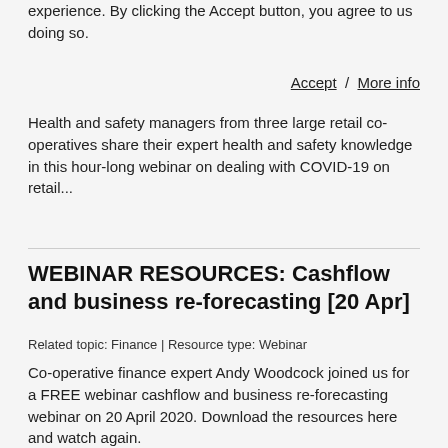We use cookies on this site to enhance your user experience. By clicking the Accept button, you agree to us doing so.
Accept / More info
Health and safety managers from three large retail co-operatives share their expert health and safety knowledge in this hour-long webinar on dealing with COVID-19 on retail...
WEBINAR RESOURCES: Cashflow and business re-forecasting [20 Apr]
Related topic: Finance | Resource type: Webinar
Co-operative finance expert Andy Woodcock joined us for a FREE webinar cashflow and business re-forecasting webinar on 20 April 2020. Download the resources here and watch again.